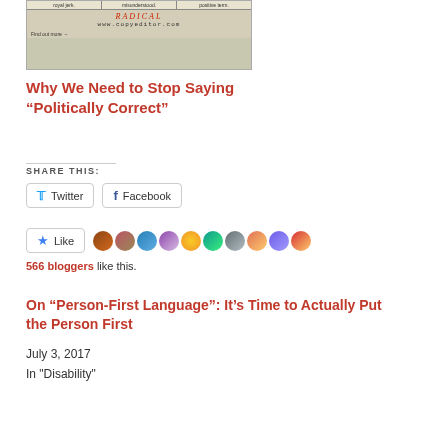[Figure (photo): Image of a typewriter with text including 'RADICAL' and 'www.copyeditor.com', with table cells at top showing 'royal jerk.', 'misunderstood.', 'positive term.']
Why We Need to Stop Saying “Politically Correct”
SHARE THIS:
Twitter  Facebook
Like  566 bloggers like this.
On “Person-First Language”: It’s Time to Actually Put the Person First
July 3, 2017
In "Disability"